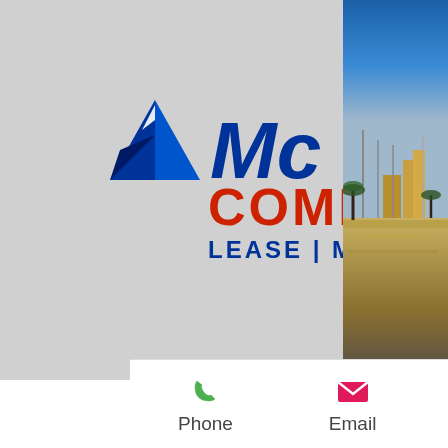[Figure (logo): McKee Commercial - LEASE | MANAGE | INVEST logo on grey background]
[Figure (screenshot): Hamburger menu button (three horizontal bars) on light blue-grey background]
Fun
hem
hest
games
rn a lot
up
bonus. One can claim free bitcoins by playing games, viewing fun offers, and rolling the dices. You can earn big money by completing surveys, offers, and other free promotions. As BitFun is integrated with CoinPot, therefore all of your earnings go directly into your account of CoinPot. Free Bitcoins for everyone, bitstarz casino sign up bonus.
FreeBitcoin offers simple games that you can
[Figure (photo): Marina/harbor scene with boats and palm trees reflected in water at night, blue sky in background]
Phone    Email    Address